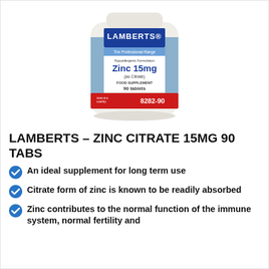[Figure (photo): Lamberts Zinc 15mg (as Citrate) food supplement bottle, 90 tablets, product code 8282-90, white bottle with blue and red label]
LAMBERTS – ZINC CITRATE 15MG 90 TABS
An ideal supplement for long term use
Citrate form of zinc is known to be readily absorbed
Zinc contributes to the normal function of the immune system, normal fertility and